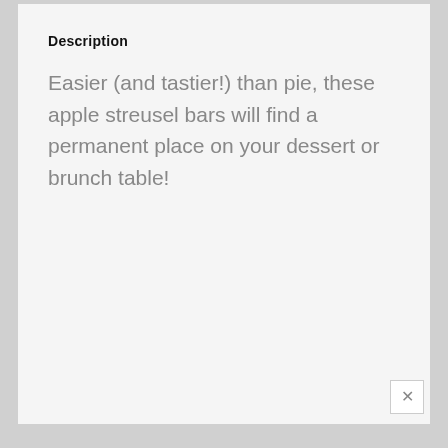Description
Easier (and tastier!) than pie, these apple streusel bars will find a permanent place on your dessert or brunch table!